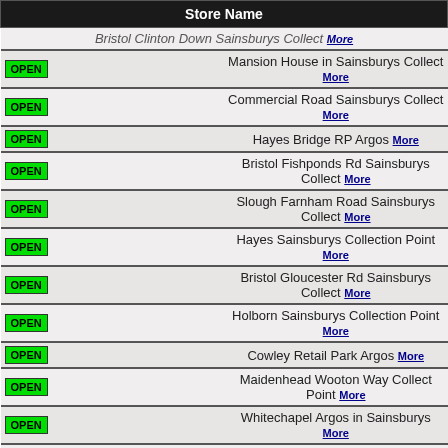| Store Name |
| --- |
| Bristol Clinton Down Sainsburys Collect More |
| OPEN | Mansion House in Sainsburys Collect More |
| OPEN | Commercial Road Sainsburys Collect More |
| OPEN | Hayes Bridge RP Argos More |
| OPEN | Bristol Fishponds Rd Sainsburys Collect More |
| OPEN | Slough Farnham Road Sainsburys Collect More |
| OPEN | Hayes Sainsburys Collection Point More |
| OPEN | Bristol Gloucester Rd Sainsburys Collect More |
| OPEN | Holborn Sainsburys Collection Point More |
| OPEN | Cowley Retail Park Argos More |
| OPEN | Maidenhead Wooton Way Collect Point More |
| OPEN | Whitechapel Argos in Sainsburys More |
| OPEN | Beckton Sainsburys Collection Point More |
| OPEN | Beckton Argos More |
| OPEN | Taplow Argos in Sainsburys More |
| OPEN | Bromley by Bow Sainsburys Collect More |
| OPEN | Old Street Argos More |
| OPEN | Ladbroke Grove Argos in Sainsburys More |
| OPEN | Shoreditch Old Street Sainsburys Collect More |
| OPEN | Bethnal Green Sainsburys Collect More |
| OPEN | Islington St John Sainsburys CP More |
| OPEN | Maidenhead Argos in Sainsburys More |